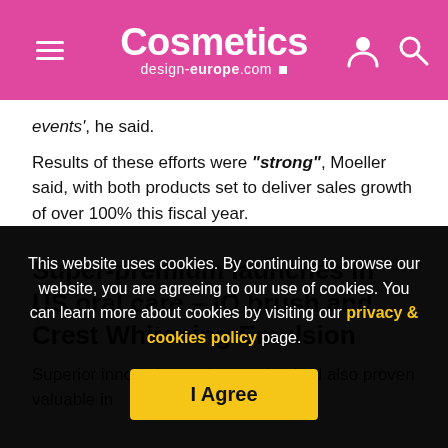Cosmetics design-europe.com
events', he said.
Results of these efforts were "strong", Moeller said, with both products set to deliver sales growth of over 100% this fiscal year.
Super-premium launches in US oral care – iO brush and Crest Whitening Emulsion
Superior innovation and execution had also proven valuable in
This website uses cookies. By continuing to browse our website, you are agreeing to our use of cookies. You can learn more about cookies by visiting our privacy & cookies policy page.
I Agree